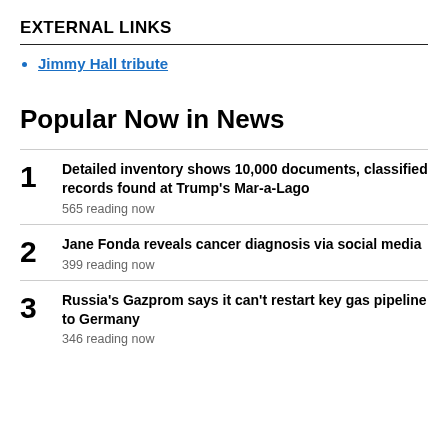EXTERNAL LINKS
Jimmy Hall tribute
Popular Now in News
1  Detailed inventory shows 10,000 documents, classified records found at Trump's Mar-a-Lago
565 reading now
2  Jane Fonda reveals cancer diagnosis via social media
399 reading now
3  Russia's Gazprom says it can't restart key gas pipeline to Germany
346 reading now